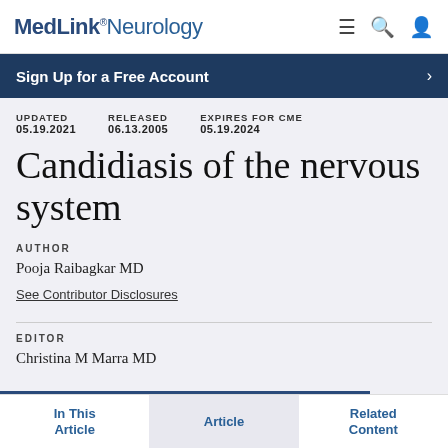MedLink® Neurology
Sign Up for a Free Account
UPDATED 05.19.2021  RELEASED 06.13.2005  EXPIRES FOR CME 05.19.2024
Candidiasis of the nervous system
AUTHOR
Pooja Raibagkar MD
See Contributor Disclosures
EDITOR
Christina M Marra MD
In This Article  Article  Related Content